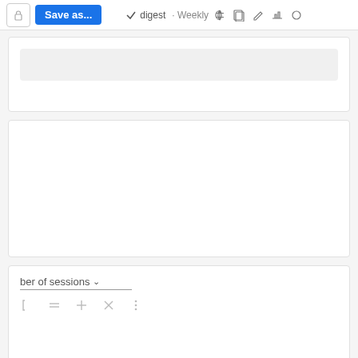[Figure (screenshot): Top toolbar with lock icon, Save as... button, digest checkmark, Weekly label, bell icon, copy icon, edit icon, folder icon, and settings icon]
[Figure (screenshot): White card panel with a light gray rounded rectangle input/search bar inside]
[Figure (screenshot): White card panel, empty content area]
ber of sessions
[Figure (screenshot): Filter row with bracket icon, equals icon, plus icon, X icon, and vertical dots icon]
[Figure (screenshot): White card empty bottom section]
[Figure (screenshot): Create Export button (outlined blue button)]
[Figure (screenshot): Chart panel with download icon, expand icon, and trending upward line chart arrow graphic at bottom]